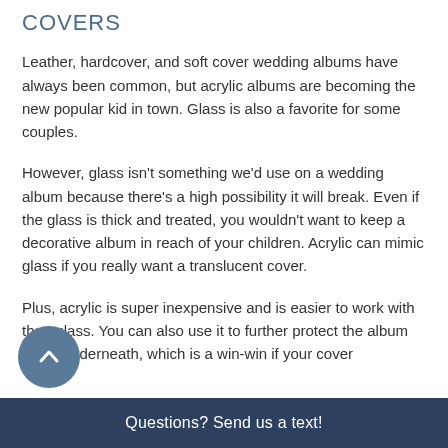COVERS
Leather, hardcover, and soft cover wedding albums have always been common, but acrylic albums are becoming the new popular kid in town. Glass is also a favorite for some couples.
However, glass isn't something we'd use on a wedding album because there's a high possibility it will break. Even if the glass is thick and treated, you wouldn't want to keep a decorative album in reach of your children. Acrylic can mimic glass if you really want a translucent cover.
Plus, acrylic is super inexpensive and is easier to work with than glass. You can also use it to further protect the album cover underneath, which is a win-win if your cover
Questions? Send us a text!